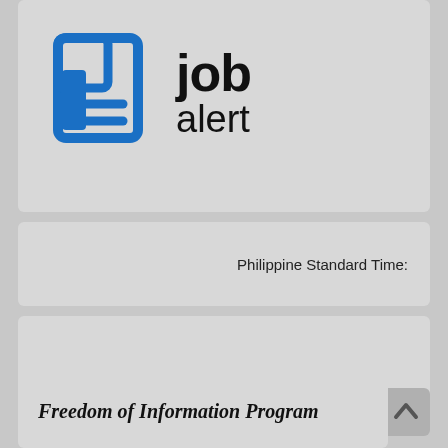[Figure (logo): Job alert logo with blue newspaper icon on the left and bold text 'job alert' on the right]
Philippine Standard Time:
[Figure (other): Empty grey placeholder box]
Freedom of Information Program